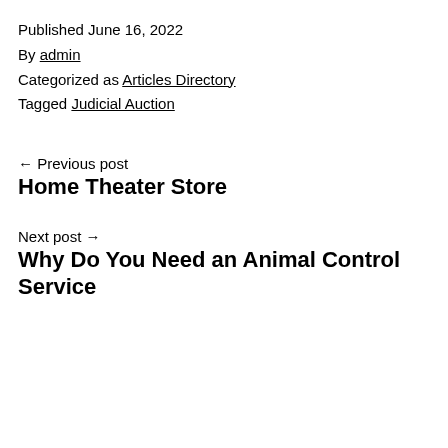Published June 16, 2022
By admin
Categorized as Articles Directory
Tagged Judicial Auction
← Previous post
Home Theater Store
Next post →
Why Do You Need an Animal Control Service